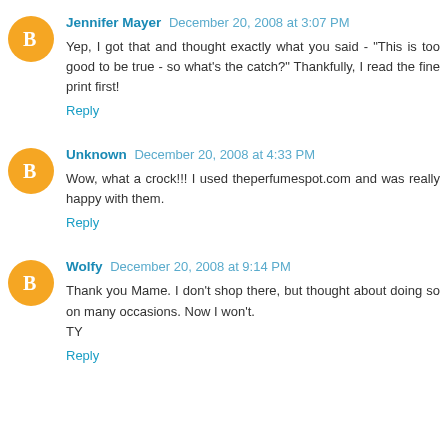Jennifer Mayer December 20, 2008 at 3:07 PM
Yep, I got that and thought exactly what you said - "This is too good to be true - so what's the catch?" Thankfully, I read the fine print first!
Reply
Unknown December 20, 2008 at 4:33 PM
Wow, what a crock!!! I used theperfumespot.com and was really happy with them.
Reply
Wolfy December 20, 2008 at 9:14 PM
Thank you Mame. I don't shop there, but thought about doing so on many occasions. Now I won't.
TY
Reply